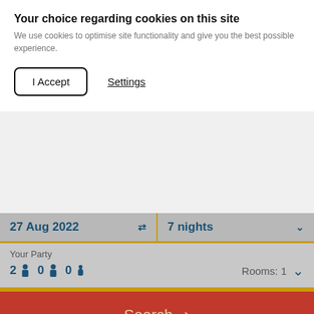Your choice regarding cookies on this site
We use cookies to optimise site functionality and give you the best possible experience.
I Accept | Settings
27 Aug 2022 | 7 nights
Your Party
2 [person] 0 [person] 0 [child]   Rooms: 1
Search
[Figure (photo): Hotel building with ornate architecture against a blue sky, viewed from waterfront]